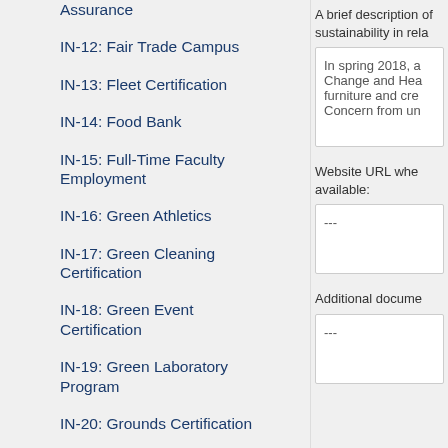Assurance
IN-12: Fair Trade Campus
IN-13: Fleet Certification
IN-14: Food Bank
IN-15: Full-Time Faculty Employment
IN-16: Green Athletics
IN-17: Green Cleaning Certification
IN-18: Green Event Certification
IN-19: Green Laboratory Program
IN-20: Grounds Certification
IN-21: Health and Safety Management Certification
IN-22: Hospital Network
A brief description of sustainability in rela
In spring 2018, a Change and Hea furniture and cre Concern from un
Website URL whe available:
---
Additional docume
---